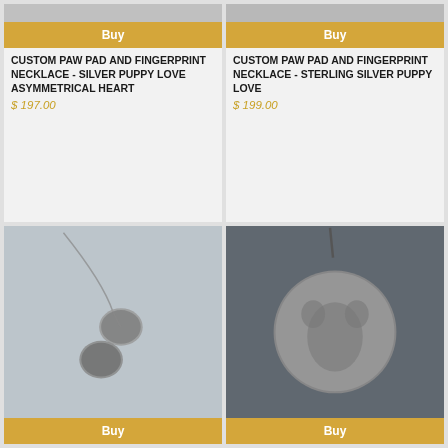[Figure (photo): Partial view of a silver jewelry item on a grey background (cropped top of left product card)]
Buy
CUSTOM PAW PAD AND FINGERPRINT NECKLACE - SILVER PUPPY LOVE ASYMMETRICAL HEART
$ 197.00
Buy
CUSTOM PAW PAD AND FINGERPRINT NECKLACE - STERLING SILVER PUPPY LOVE
$ 199.00
[Figure (photo): Silver asymmetrical heart necklace with paw pad and fingerprint design on a chain, displayed on a grey-blue wooden background]
[Figure (photo): Round silver pendant necklace with paw print design on a dark chain against a dark grey background]
Buy
Buy